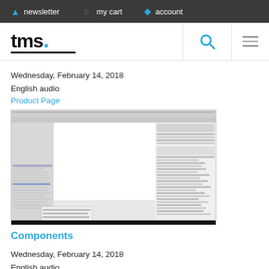newsletter   my cart   account
[Figure (logo): tms. logo with blue dot and underline]
Wednesday, February 14, 2018
English audio
Product Page
[Figure (screenshot): Screenshot of a software application interface with panels, toolbars, and property editors]
Components
Wednesday, February 14, 2018
English audio